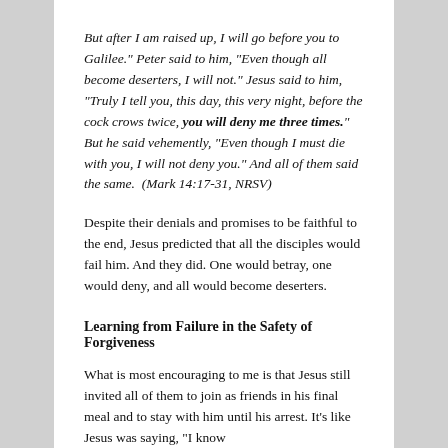But after I am raised up, I will go before you to Galilee." Peter said to him, "Even though all become deserters, I will not." Jesus said to him, "Truly I tell you, this day, this very night, before the cock crows twice, you will deny me three times." But he said vehemently, "Even though I must die with you, I will not deny you." And all of them said the same.  (Mark 14:17-31, NRSV)
Despite their denials and promises to be faithful to the end, Jesus predicted that all the disciples would fail him. And they did. One would betray, one would deny, and all would become deserters.
Learning from Failure in the Safety of Forgiveness
What is most encouraging to me is that Jesus still invited all of them to join as friends in his final meal and to stay with him until his arrest. It's like Jesus was saying, "I know